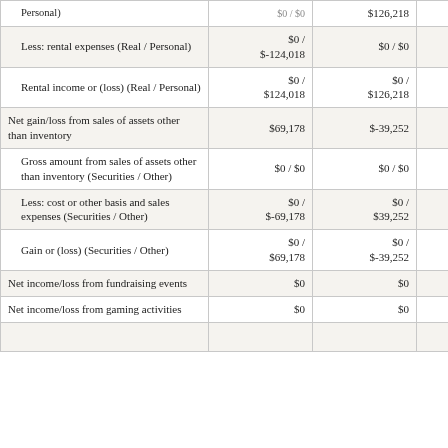|  |  | $126,218 | $146,899 |
| --- | --- | --- | --- |
| Less: rental expenses (Real / Personal) | $0 / $-124,018 | $0 / $0 | $0 / $0 |
| Rental income or (loss) (Real / Personal) | $0 / $124,018 | $0 / $126,218 | $0 / $146,899 |
| Net gain/loss from sales of assets other than inventory | $69,178 | $-39,252 | $-11,009 |
| Gross amount from sales of assets other than inventory (Securities / Other) | $0 / $0 | $0 / $0 | $0 / $0 |
| Less: cost or other basis and sales expenses (Securities / Other) | $0 / $-69,178 | $0 / $39,252 | $0 / $11,009 |
| Gain or (loss) (Securities / Other) | $0 / $69,178 | $0 / $-39,252 | $0 / $-11,009 |
| Net income/loss from fundraising events | $0 | $0 | $0 |
| Net income/loss from gaming activities | $0 | $0 | $0 |